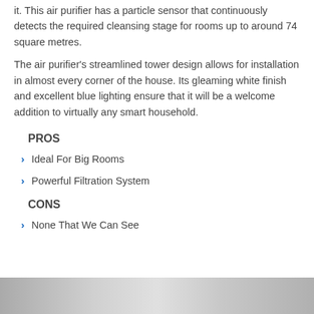it. This air purifier has a particle sensor that continuously detects the required cleansing stage for rooms up to around 74 square metres.
The air purifier’s streamlined tower design allows for installation in almost every corner of the house. Its gleaming white finish and excellent blue lighting ensure that it will be a welcome addition to virtually any smart household.
PROS
Ideal For Big Rooms
Powerful Filtration System
CONS
None That We Can See
[Figure (photo): Partial view of an air purifier product photo at the bottom of the page]